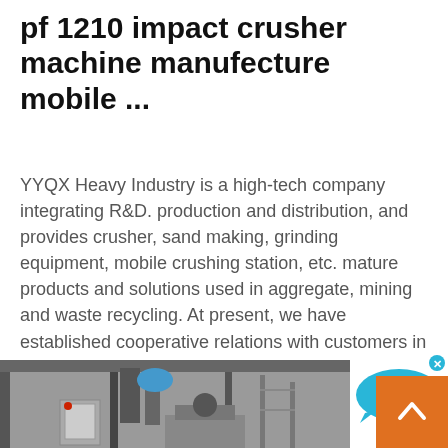pf 1210 impact crusher machine manufecture mobile ...
YYQX Heavy Industry is a high-tech company integrating R&D. production and distribution, and provides crusher, sand making, grinding equipment, mobile crushing station, etc. mature products and solutions used in aggregate, mining and waste recycling. At present, we have established cooperative relations with customers in more than 170 countries ...
[Figure (other): Live Chat bubble widget — cyan speech bubble with 'Live Chat' text and an X close button]
Read More
[Figure (photo): Industrial machinery photo showing crushers and processing equipment inside a factory building]